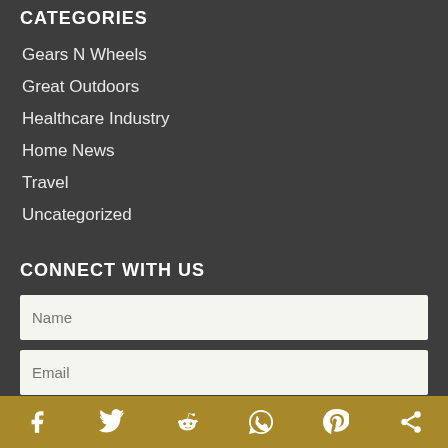CATEGORIES
Gears N Wheels
Great Outdoors
Healthcare Industry
Home News
Travel
Uncategorized
CONNECT WITH US
Name (input field)
Email (input field)
[Figure (other): Social media share bar with icons for Facebook, Twitter, Reddit, WhatsApp, Pinterest, and a share icon on a gold/yellow background]